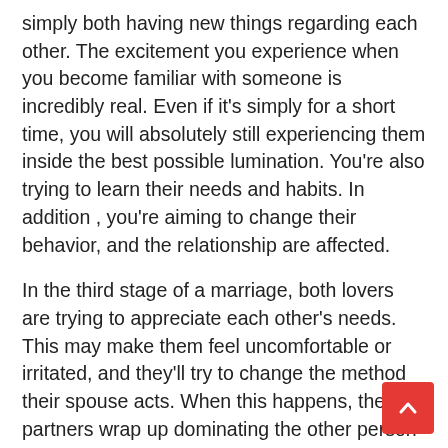simply both having new things regarding each other. The excitement you experience when you become familiar with someone is incredibly real. Even if it's simply for a short time, you will absolutely still experiencing them inside the best possible lumination. You're also trying to learn their needs and habits. In addition , you're aiming to change their behavior, and the relationship are affected.
In the third stage of a marriage, both lovers are trying to appreciate each other's needs. This may make them feel uncomfortable or irritated, and they'll try to change the method their spouse acts. When this happens, the two partners wrap up dominating the other person and their romance suffers. During this stage, one particular partner might be more likely to be a cheater than the other, and they'll begin to lose interest inside the other.
Your fourth stage is mostly a time of relearning your loved ones. You'll need to learn about distinct...